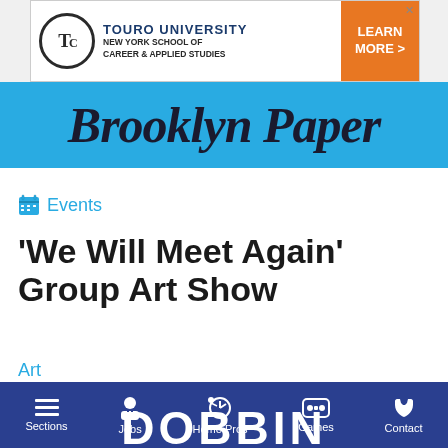[Figure (screenshot): Touro University advertisement banner with orange 'Learn More' button]
[Figure (logo): Brooklyn Paper logo in italic serif font on blue background]
Events
'We Will Meet Again' Group Art Show
Art
[Figure (photo): Partial image showing blue background with text DOBBIN and partial DD logo circle]
Sections  Jobs  Home Pros  Games  Contact